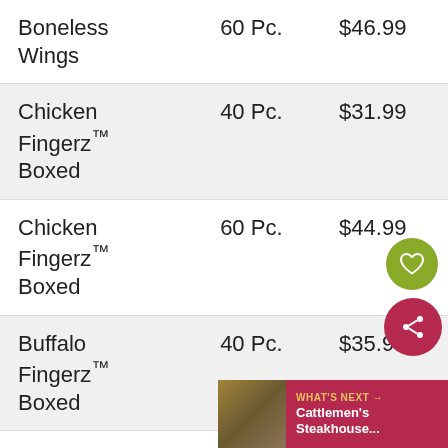| Item | Size | Price |
| --- | --- | --- |
| Boneless Wings | 60 Pc. | $46.99 |
| Chicken Fingerz™ Boxed | 40 Pc. | $31.99 |
| Chicken Fingerz™ Boxed | 60 Pc. | $44.99 |
| Buffalo Fingerz™ Boxed | 40 Pc. | $35.99 |
| Buffalo Fingerz™ Boxed | 60 Pc. | $48... |